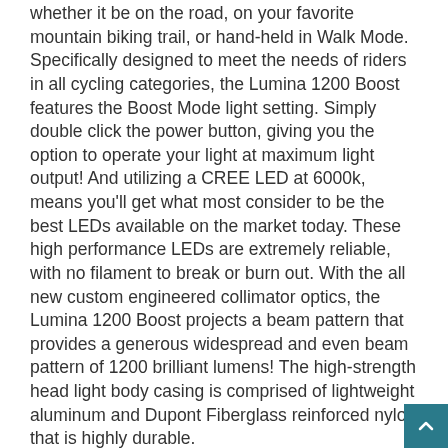whether it be on the road, on your favorite mountain biking trail, or hand-held in Walk Mode. Specifically designed to meet the needs of riders in all cycling categories, the Lumina 1200 Boost features the Boost Mode light setting. Simply double click the power button, giving you the option to operate your light at maximum light output! And utilizing a CREE LED at 6000k, means you’ll get what most consider to be the best LEDs available on the market today. These high performance LEDs are extremely reliable, with no filament to break or burn out. With the all new custom engineered collimator optics, the Lumina 1200 Boost projects a beam pattern that provides a generous widespread and even beam pattern of 1200 brilliant lumens! The high-strength head light body casing is comprised of lightweight aluminum and Dupont Fiberglass reinforced nylon that is highly durable.
The NiteRider Solas 250 uses two powerful LEDs to produce an amazing 250 lumens of light output. It features 4 modes (2 flash / 2 steady) and is USB rechargeable